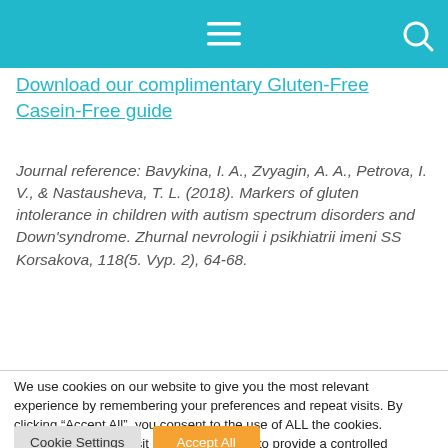Download our complimentary Gluten-Free Casein-Free guide
Journal reference: Bavykina, I. A., Zvyagin, A. A., Petrova, I. V., & Nastausheva, T. L. (2018). Markers of gluten intolerance in children with autism spectrum disorders and Down'syndrome. Zhurnal nevrologii i psikhiatrii imeni SS Korsakova, 118(5. Vyp. 2), 64-68.
We use cookies on our website to give you the most relevant experience by remembering your preferences and repeat visits. By clicking “Accept All”, you consent to the use of ALL the cookies. However, you may visit "Cookie Settings" to provide a controlled consent.